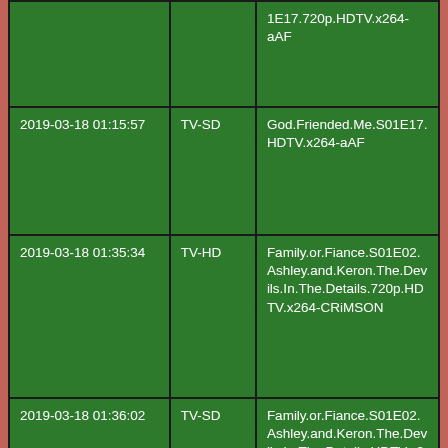|  |  | 1E17.720p.HDTV.x264-aAF |
| 2019-03-18 01:15:57 | TV-SD | God.Friended.Me.S01E17.HDTV.x264-aAF |
| 2019-03-18 01:35:34 | TV-HD | Family.or.Fiance.S01E02.Ashley.and.Keron.The.Devils.In.The.Details.720p.HDTV.x264-CRiMSON |
| 2019-03-18 01:36:02 | TV-SD | Family.or.Fiance.S01E02.Ashley.and.Keron.The.Devils.In.The.Details.HDTV.x264-CRiMSON |
| 2019-03-18 01:36:33 | TV-HD | Marriage.Boot.Camp.Reality.Stars.S12E10.Hip.Hop.Edition.Re-lit.or.Quit.720p.HDTV.x264-CRiMSON |